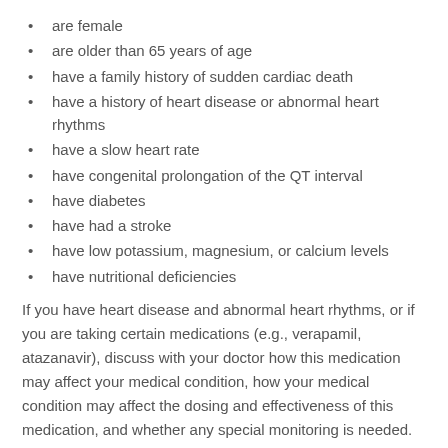are female
are older than 65 years of age
have a family history of sudden cardiac death
have a history of heart disease or abnormal heart rhythms
have a slow heart rate
have congenital prolongation of the QT interval
have diabetes
have had a stroke
have low potassium, magnesium, or calcium levels
have nutritional deficiencies
If you have heart disease and abnormal heart rhythms, or if you are taking certain medications (e.g., verapamil, atazanavir), discuss with your doctor how this medication may affect your medical condition, how your medical condition may affect the dosing and effectiveness of this medication, and whether any special monitoring is needed.